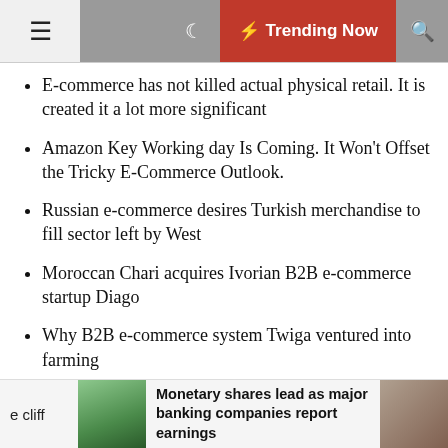☰  🌙  ⚡ Trending Now  🔍
E-commerce has not killed actual physical retail. It is created it a lot more significant
Amazon Key Working day Is Coming. It Won't Offset the Tricky E-Commerce Outlook.
Russian e-commerce desires Turkish merchandise to fill sector left by West
Moroccan Chari acquires Ivorian B2B e-commerce startup Diago
Why B2B e-commerce system Twiga ventured into farming
New Oriental's Yu Minhong delivers back English teaching with a reside-streaming e-commerce twist
e cliff   Monetary shares lead as major banking companies report earnings